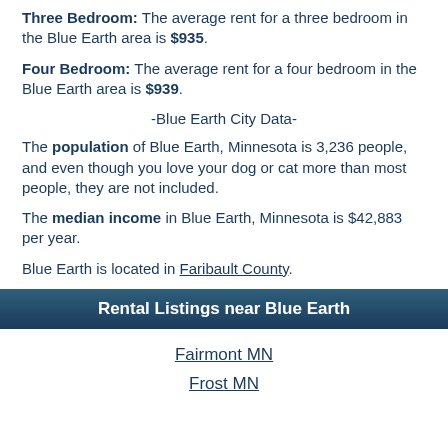Three Bedroom: The average rent for a three bedroom in the Blue Earth area is $935.
Four Bedroom: The average rent for a four bedroom in the Blue Earth area is $939.
-Blue Earth City Data-
The population of Blue Earth, Minnesota is 3,236 people, and even though you love your dog or cat more than most people, they are not included.
The median income in Blue Earth, Minnesota is $42,883 per year.
Blue Earth is located in Faribault County.
Rental Listings near Blue Earth
Fairmont MN
Frost MN